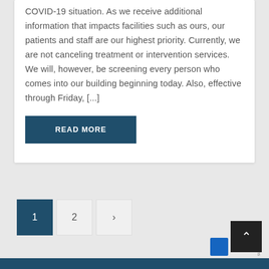COVID-19 situation. As we receive additional information that impacts facilities such as ours, our patients and staff are our highest priority. Currently, we are not canceling treatment or intervention services. We will, however, be screening every person who comes into our building beginning today. Also, effective through Friday, [...]
READ MORE
1 2 >